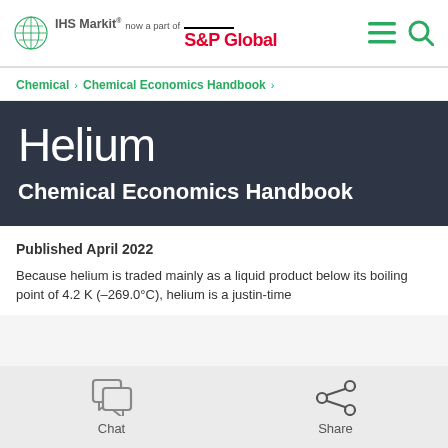IHS Markit® now a part of S&P Global
Chemical › Chemical Economics Handbook
Helium
Chemical Economics Handbook
Published April 2022
Because helium is traded mainly as a liquid product below its boiling point of 4.2 K (–269.0°C), helium is a justin-time
Chat   Share